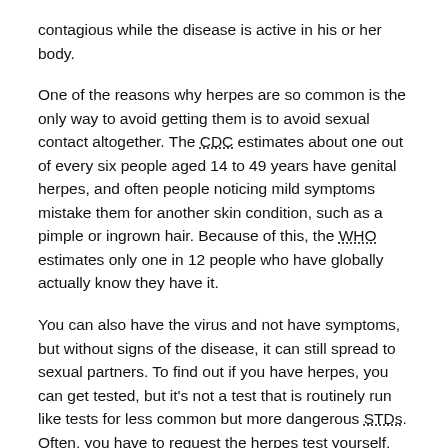contagious while the disease is active in his or her body.
One of the reasons why herpes are so common is the only way to avoid getting them is to avoid sexual contact altogether. The CDC estimates about one out of every six people aged 14 to 49 years have genital herpes, and often people noticing mild symptoms mistake them for another skin condition, such as a pimple or ingrown hair. Because of this, the WHO estimates only one in 12 people who have globally actually know they have it.
You can also have the virus and not have symptoms, but without signs of the disease, it can still spread to sexual partners. To find out if you have herpes, you can get tested, but it's not a test that is routinely run like tests for less common but more dangerous STDs. Often, you have to request the herpes test yourself.
Left untreated it can lead to painful genital ulcers that can be severe and persistent in persons with suppressed immune systems, but there are medicines that can...